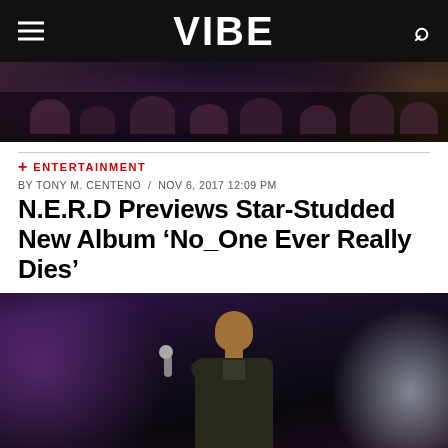VIBE
[Figure (photo): Concert crowd photo at top of page, dark background with people visible]
+ ENTERTAINMENT
BY TONY M. CENTENO / NOV 6, 2017 12:09 PM
N.E.R.D Previews Star-Studded New Album ‘No_One Ever Really Dies’
[Figure (photo): Pharrell Williams performing on stage, holding a microphone, wearing a dark jacket, with purple and white stage lighting]